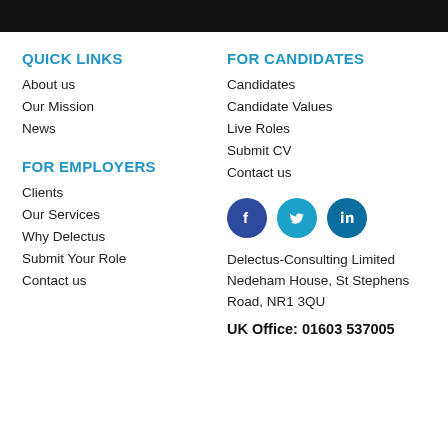QUICK LINKS
About us
Our Mission
News
FOR CANDIDATES
Candidates
Candidate Values
Live Roles
Submit CV
Contact us
FOR EMPLOYERS
Clients
Our Services
Why Delectus
Submit Your Role
Contact us
[Figure (infographic): Social media icons: Facebook, Twitter, LinkedIn]
Delectus-Consulting Limited
Nedeham House, St Stephens Road, NR1 3QU
UK Office: 01603 537005